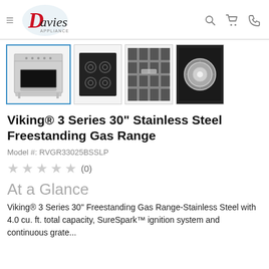Davies Appliance — navigation header with logo, search, cart, and phone icons
[Figure (screenshot): Product image gallery showing a Viking freestanding gas range (main selected thumbnail) and three detail thumbnails: burner grates top-down, grate/handle closeup, and chrome knob closeup]
Viking® 3 Series 30" Stainless Steel Freestanding Gas Range
Model #: RVGR33025BSSLP
★ ★ ★ ★ ★ (0)
At a Glance
Viking® 3 Series 30" Freestanding Gas Range-Stainless Steel with 4.0 cu. ft. total capacity, SureSpark™ ignition system and continuous grate...